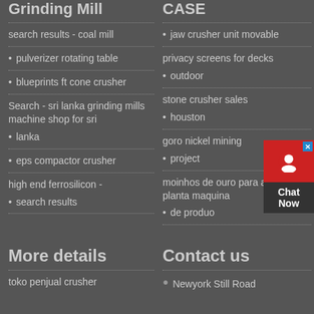Grinding Mill
CASE
search results - coal mill
pulverizer rotating table
blueprints ft cone crusher
Search - sri lanka grinding mills machine shop for sri lanka
eps compactor crusher
high end ferrosilicon - search results
jaw crusher unit movable
privacy screens for decks outdoor
stone crusher sales houston
goro nickel mining project
moinhos de ouro para a venda da planta maquina de produo
More details
Contact us
toko penjual crusher
Newyork Still Road